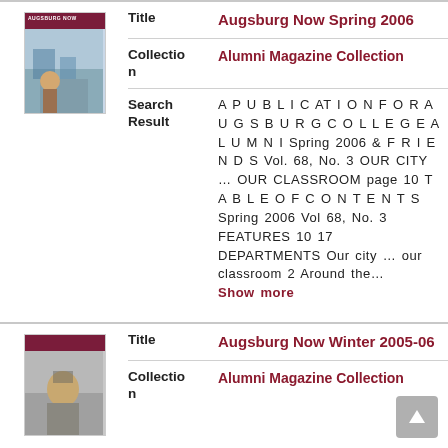[Figure (photo): Thumbnail cover image of Augsburg Now Spring 2006 magazine]
Title
Augsburg Now Spring 2006
Collection
Alumni Magazine Collection
Search Result
A P U B L I C AT I O N F O R A U G S B U R G C O L L E G E A L U M N I Spring 2006 & F R I E N D S Vol. 68, No. 3 OUR CITY … OUR CLASSROOM page 10 T A B L E O F C O N T E N T S Spring 2006 Vol 68, No. 3 FEATURES 10 17 DEPARTMENTS Our city … our classroom 2 Around the… Show more
[Figure (photo): Thumbnail cover image of Augsburg Now Winter 2005-06 magazine]
Title
Augsburg Now Winter 2005-06
Collection
Alumni Magazine Collection